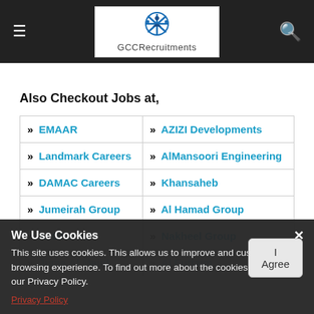GCCRecruitments
Also Checkout Jobs at,
| » EMAAR | » AZIZI Developments |
| » Landmark Careers | » AlMansoori Engineering |
| » DAMAC Careers | » Khansaheb |
| » Jumeirah Group | » Al Hamad Group |
| » Al Ghurair | » Nakheel Group |
| » Juma Al Majid | » Al Futtaim |
| » Al... | » IKEA |
| » Globecon... | » Almar Careers |
We Use Cookies
This site uses cookies. This allows us to improve and customize your browsing experience. To find out more about the cookies we use, see our Privacy Policy.
Privacy Policy